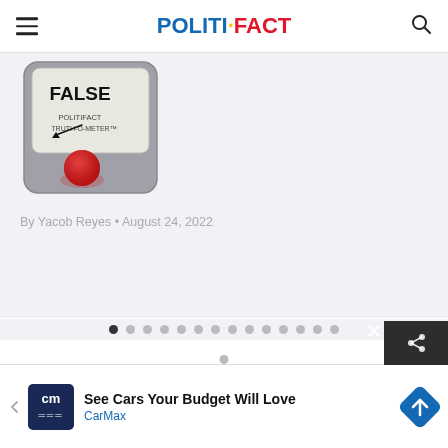POLITIFACT
[Figure (illustration): PolitiFact Truth-O-Meter gauge showing FALSE rating with red indicator light]
By Yacob Reyes • August 24, 2022
[Figure (other): Pagination dots row with first dot active, and a single dot below]
See Cars Your Budget Will Love CarMax advertisement